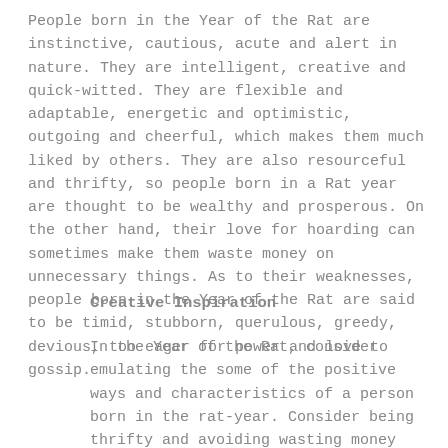People born in the Year of the Rat are instinctive, cautious, acute and alert in nature. They are intelligent, creative and quick-witted. They are flexible and adaptable, energetic and optimistic, outgoing and cheerful, which makes them much liked by others. They are also resourceful and thrifty, so people born in a Rat year are thought to be wealthy and prosperous. On the other hand, their love for hoarding can sometimes make them waste money on unnecessary things. As to their weaknesses, people born in the Year of the Rat are said to be timid, stubborn, querulous, greedy, devious, too eager for power and love to gossip.
Creative Inspiration
In the Year of the Rat, consider emulating the some of the positive ways and characteristics of a person born in the rat-year. Consider being thrifty and avoiding wasting money for non-essentials in 2020. If you invest in the stock market, cautiously follow